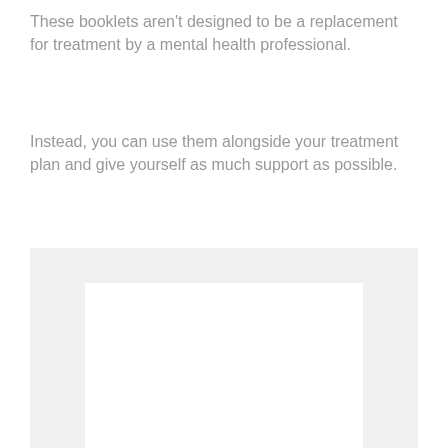These booklets aren't designed to be a replacement for treatment by a mental health professional.
Instead, you can use them alongside your treatment plan and give yourself as much support as possible.
[Figure (other): A light grey rectangular box containing a white inner rectangle, representing a placeholder image or booklet illustration.]